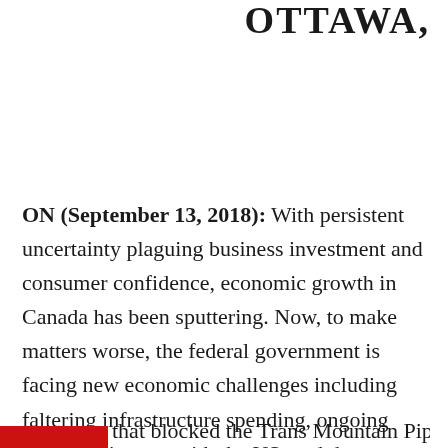OTTAWA,
ON (September 13, 2018): With persistent uncertainty plaguing business investment and consumer confidence, economic growth in Canada has been sputtering. Now, to make matters worse, the federal government is facing new economic challenges including faltering infrastructure spending, ongoing NAFTA disputes with the US, and the court ruling [blocked] the Trans Mountain Pipeline